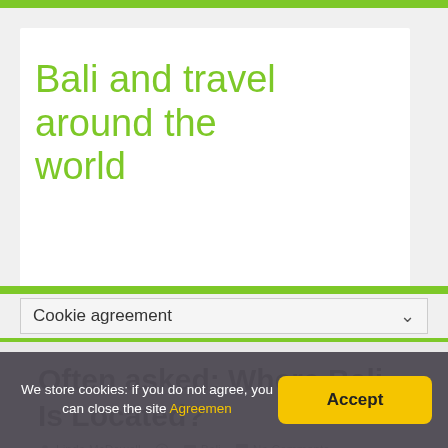Bali and travel around the world
Cookie agreement
Often asked: Where Bali Is Located?
Linda McDowell   Bali   No Comments
We store cookies: if you do not agree, you can close the site Agreemen